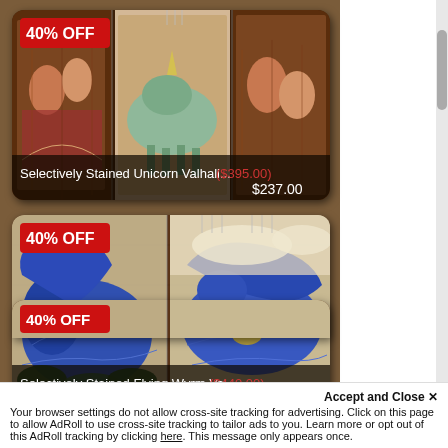[Figure (photo): Product card: Selectively Stained Unicorn Valhall... artwork on wood panels, dark background with fantasy art. Badge: 40% OFF. Price: ($395.00) $237.00]
[Figure (photo): Product card: Selectively Stained Flying Wyrm Val... blue dragon artwork on wood panels, dark background. Badge: 40% OFF. Price: ($440.00) $264.00]
[Figure (photo): Partial product card visible at bottom, partially cut off]
Accept and Close ✕
Your browser settings do not allow cross-site tracking for advertising. Click on this page to allow AdRoll to use cross-site tracking to tailor ads to you. Learn more or opt out of this AdRoll tracking by clicking here. This message only appears once.